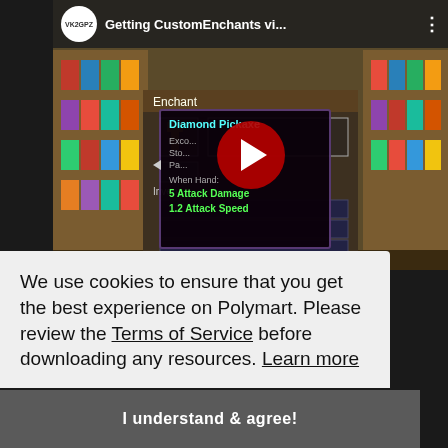[Figure (screenshot): YouTube video thumbnail showing a Minecraft enchanting screen with a tooltip reading 'Diamond Pickaxe' with enchant options and stats: 'Exco', 'Sto', 'Pa', 'When Hand: 5 Attack Damage, 1.2 Attack Speed'. Channel avatar shows 'VK2GPZ' and title reads 'Getting CustomEnchants vi...'. A red YouTube play button is centered on the video.]
We use cookies to ensure that you get the best experience on Polymart. Please review the Terms of Service before downloading any resources. Learn more
I understand & agree!